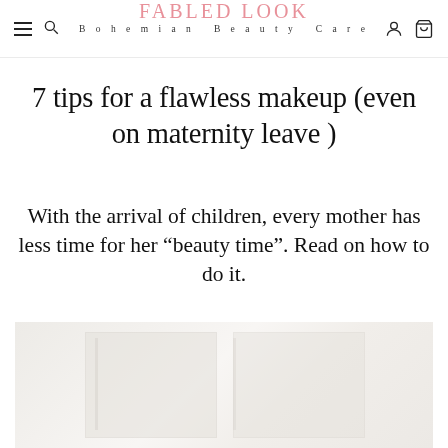FABLED LOOK — Bohemian Beauty Care
7 tips for a flawless makeup (even on maternity leave )
With the arrival of children, every mother has less time for her “beauty time”. Read on how to do it.
[Figure (photo): Light-toned minimalist product or lifestyle photo with pale beige and white tones, partially visible at bottom of page]